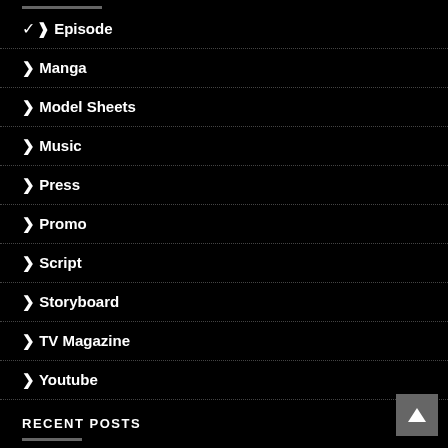Episode
Manga
Model Sheets
Music
Press
Promo
Script
Storyboard
TV Magazine
Youtube
RECENT POSTS
Car Robots Stock Footage Storyboards and G1 Location Models Gallery